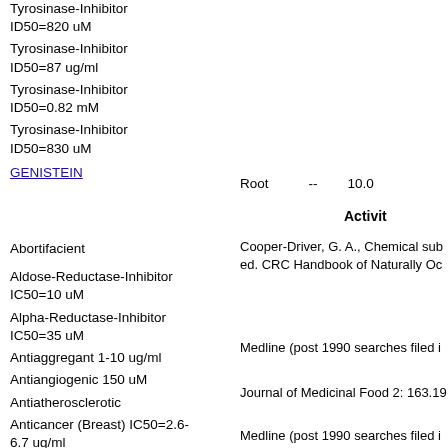Tyrosinase-Inhibitor ID50=820 uM
Tyrosinase-Inhibitor ID50=87 ug/ml
Tyrosinase-Inhibitor ID50=0.82 mM
Tyrosinase-Inhibitor ID50=830 uM
GENISTEIN   Root   --   10.0
Activit
Cooper-Driver, G. A., Chemical sub ed. CRC Handbook of Naturally Oc
Abortifacient
Aldose-Reductase-Inhibitor IC50=10 uM
Alpha-Reductase-Inhibitor IC50=35 uM
Antiaggregant 1-10 ug/ml
Medline (post 1990 searches filed i
Antiangiogenic 150 uM
Antiatherosclerotic
Journal of Medicinal Food 2: 163.19
Anticancer (Breast) IC50=2.6-6.7 ug/ml
Anticarcinomic (Breast)
Medline (post 1990 searches filed i